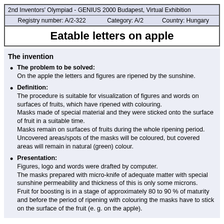2nd Inventors' Olympiad - GENIUS 2000 Budapest, Virtual Exhibition
Registry number: A/2-322    Category: A/2    Country: Hungary
Eatable letters on apple
The invention
The problem to be solved: On the apple the letters and figures are ripened by the sunshine.
Definition: The procedure is suitable for visualization of figures and words on surfaces of fruits, which have ripened with colouring. Masks made of special material and they were sticked onto the surface of fruit in a suitable time. Masks remain on surfaces of fruits during the whole ripening period. Uncovered areas/spots of the masks will be coloured, but covered areas will remain in natural (green) colour.
Presentation: Figures, logo and words were drafted by computer. The masks prepared with micro-knife of adequate matter with special sunshine permeability and thickness of this is only some microns. Fruit for boosting is in a stage of approximately 80 to 90 % of maturity and before the period of ripening with colouring the masks have to stick on the surface of the fruit (e. g. on the apple).